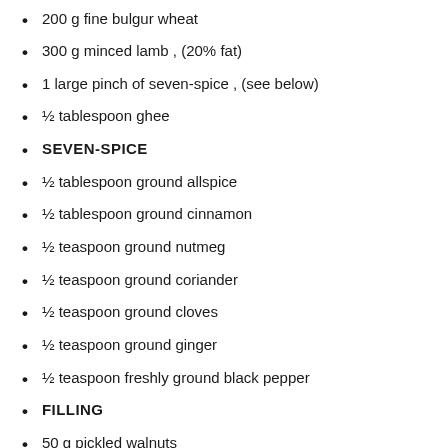200 g fine bulgur wheat
300 g minced lamb , (20% fat)
1 large pinch of seven-spice , (see below)
½ tablespoon ghee
SEVEN-SPICE
½ tablespoon ground allspice
½ tablespoon ground cinnamon
½ teaspoon ground nutmeg
½ teaspoon ground coriander
½ teaspoon ground cloves
½ teaspoon ground ginger
½ teaspoon freshly ground black pepper
FILLING
50 g pickled walnuts
50 g Medjool dates